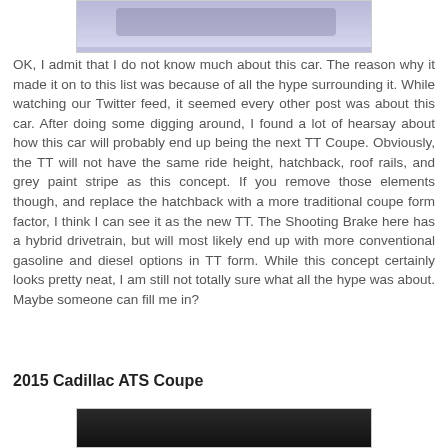[Figure (photo): Top portion of a car concept photo with purple/blue background, partially cropped at top of page]
OK, I admit that I do not know much about this car. The reason why it made it on to this list was because of all the hype surrounding it. While watching our Twitter feed, it seemed every other post was about this car. After doing some digging around, I found a lot of hearsay about how this car will probably end up being the next TT Coupe. Obviously, the TT will not have the same ride height, hatchback, roof rails, and grey paint stripe as this concept. If you remove those elements though, and replace the hatchback with a more traditional coupe form factor, I think I can see it as the new TT. The Shooting Brake here has a hybrid drivetrain, but will most likely end up with more conventional gasoline and diesel options in TT form. While this concept certainly looks pretty neat, I am still not totally sure what all the hype was about. Maybe someone can fill me in?
2015 Cadillac ATS Coupe
[Figure (photo): Bottom portion of a car photo, dark/nighttime setting, partially visible at bottom of page]